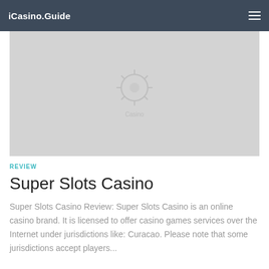iCasino.Guide
[Figure (photo): Casino banner image placeholder — light gray rectangle with faint casino-related watermark graphic]
REVIEW
Super Slots Casino
Super Slots Casino Review: Super Slots Casino is an online casino brand. It is licensed to offer casino games services over the Internet under jurisdictions like: Curacao. Please note that some jurisdictions accept players...